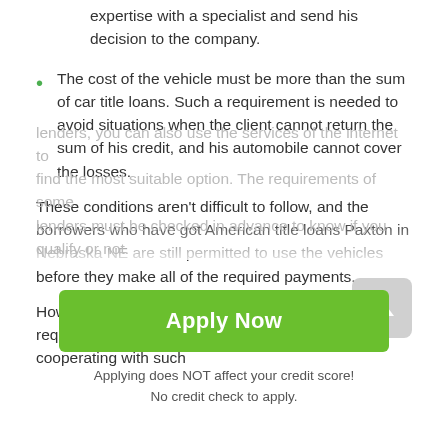expertise with a specialist and send his decision to the company.
The cost of the vehicle must be more than the sum of car title loans. Such a requirement is needed to avoid situations when the client cannot return the sum of his credit, and his automobile cannot cover the losses.
These conditions aren't difficult to follow, and the borrowers who have got American title loans Paxton in Nebraska NE are still permitted to use the vehicles before they make all of the required payments.
However, some lenders have more rigorous requirements. In case if you are eager to avoid cooperating with such
[Figure (other): Green 'Apply Now' button with caption: Applying does NOT affect your credit score! No credit check to apply.]
Applying does NOT affect your credit score!
No credit check to apply.